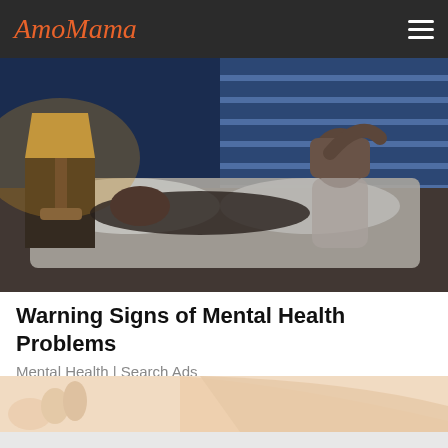AmoMama
[Figure (photo): A couple in bed at night, dimly lit. A man lies asleep while a woman sits up, holding her head in distress. A warm lamp is on the bedside table. Blue ambient light from window blinds fills the background.]
Warning Signs of Mental Health Problems
Mental Health | Search Ads
[Figure (photo): Close-up photo of a person's hand and leg/knee area, skin visible, on a white/light background.]